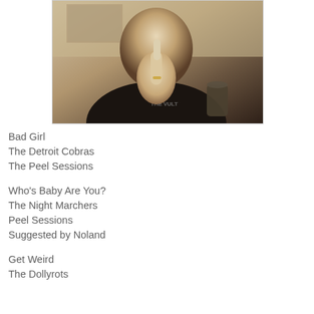[Figure (photo): A sepia-toned photo of a man in a black t-shirt making an obscene gesture with his middle finger, with a drink visible in the background]
Bad Girl
The Detroit Cobras
The Peel Sessions
Who's Baby Are You?
The Night Marchers
Peel Sessions
Suggested by Noland
Get Weird
The Dollyrots